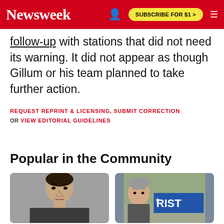Newsweek | SUBSCRIBE FOR $1 >
follow-up with stations that did not need its warning. It did not appear as though Gillum or his team planned to take further action.
REQUEST REPRINT & LICENSING, SUBMIT CORRECTION OR VIEW EDITORIAL GUIDELINES
Popular in the Community
[Figure (photo): Close-up photo of a man with dark hair against a blurred background]
[Figure (photo): Photo of a man in front of a sign reading RIST, partial view]